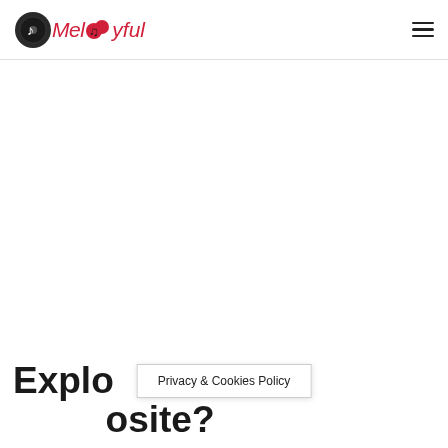Melodyful
Explo...osite?
Privacy & Cookies Policy